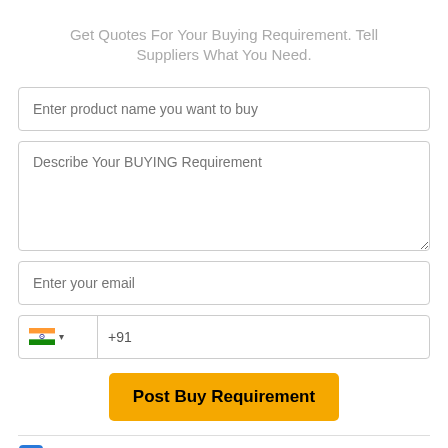Get Quotes For Your Buying Requirement. Tell Suppliers What You Need.
[Figure (screenshot): Web form with fields: product name input, buying requirement textarea, email input, phone number with India flag and +91 country code, Post Buy Requirement yellow button, terms and conditions checkbox]
I agree to abide by all the Terms and Conditions of tradeindia.com